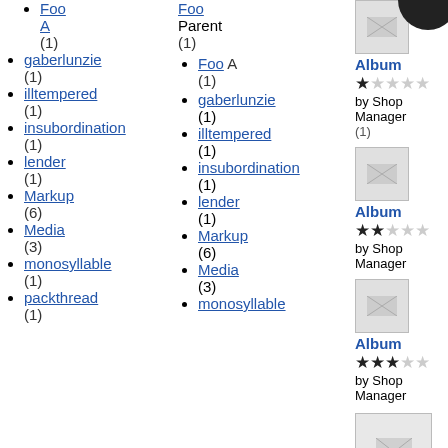Foo A (1)
gaberlunzie (1)
illtempered (1)
insubordination (1)
lender (1)
Markup (6)
Media (3)
monosyllable (1)
packthread (1)
Foo (1)
Parent (1)
gaberlunzie (1)
illtempered (1)
insubordination (1)
lender (1)
Markup (6)
Media (3)
monosyllable
Album by Shop Manager - 1 star
Album by Shop Manager - 2 stars
Album by Shop Manager - 3 stars
Block Product Categories List W/ Images